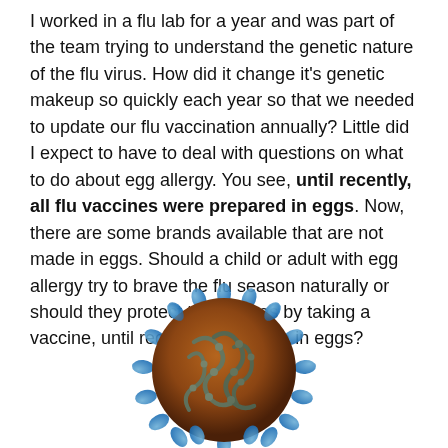I worked in a flu lab for a year and was part of the team trying to understand the genetic nature of the flu virus. How did it change it's genetic makeup so quickly each year so that we needed to update our flu vaccination annually? Little did I expect to have to deal with questions on what to do about egg allergy. You see, until recently, all flu vaccines were prepared in eggs. Now, there are some brands available that are not made in eggs. Should a child or adult with egg allergy try to brave the flu season naturally or should they protect themselves by taking a vaccine, until recently only made in eggs?
[Figure (illustration): 3D illustration of a flu virus particle showing blue spike proteins on a brown spherical surface with coiled internal structures visible]